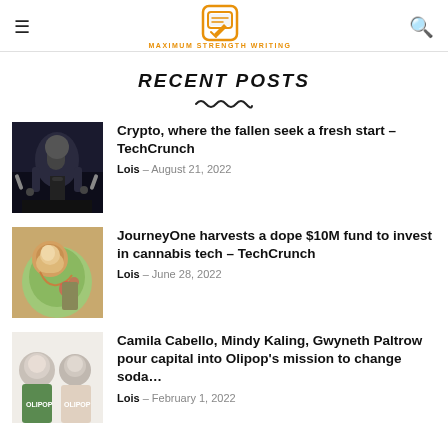MAXIMUM STRENGTH WRITING
RECENT POSTS
Crypto, where the fallen seek a fresh start – TechCrunch | Lois – August 21, 2022
JourneyOne harvests a dope $10M fund to invest in cannabis tech – TechCrunch | Lois – June 28, 2022
Camila Cabello, Mindy Kaling, Gwyneth Paltrow pour capital into Olipop's mission to change soda… | Lois – February 1, 2022